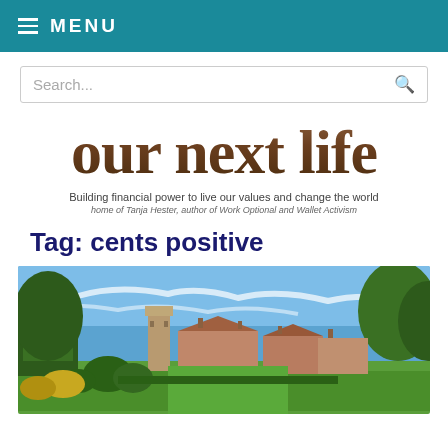MENU
Search...
[Figure (logo): our next life logo with wooden texture lettering]
Building financial power to live our values and change the world
home of Tanja Hester, author of Work Optional and Wallet Activism
Tag: cents positive
[Figure (photo): Panoramic photo of English countryside with historic church tower, brick buildings, formal garden with lawn and hedges under a blue sky with wispy clouds and trees on both sides]